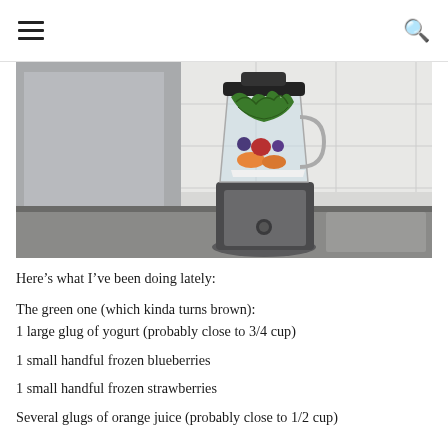☰  🔍
[Figure (photo): A blender filled with green leafy vegetables, yogurt, and colorful fruits (strawberries, blueberries) sitting on a kitchen counter with white tile backsplash and stainless steel appliances in the background.]
Here's what I've been doing lately:
The green one (which kinda turns brown):
1 large glug of yogurt (probably close to 3/4 cup)
1 small handful frozen blueberries
1 small handful frozen strawberries
Several glugs of orange juice (probably close to 1/2 cup)